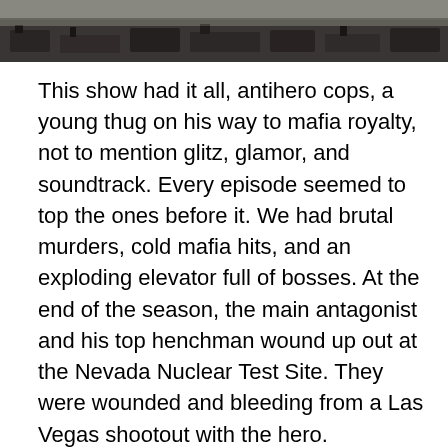[Figure (photo): Black and white photograph strip at the top of the page, appearing to show a military or industrial scene with vehicles or equipment near water.]
This show had it all, antihero cops, a young thug on his way to mafia royalty, not to mention glitz, glamor, and soundtrack. Every episode seemed to top the ones before it. We had brutal murders, cold mafia hits, and an exploding elevator full of bosses. At the end of the season, the main antagonist and his top henchman wound up out at the Nevada Nuclear Test Site. They were wounded and bleeding from a Las Vegas shootout with the hero.
The baddies hid inside a building full of mannequins, and had an epiphany about where they were just before the bomb went off. (Twenty plus years before Indianna Jones, I might add.)
It was so popular it earned a second season. And here we